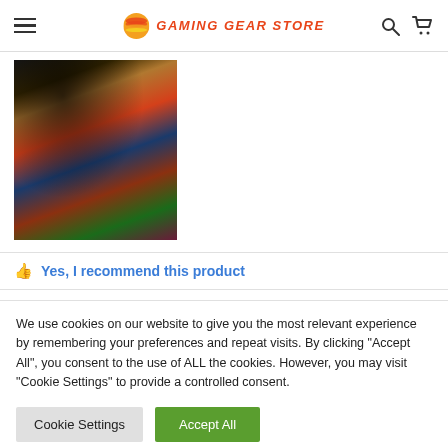GAMING GEAR STORE
[Figure (photo): A hand wearing a black wristband/bracelet, held near a colorful striped background with multiple colors including red, blue, yellow, green.]
Yes, I recommend this product
We use cookies on our website to give you the most relevant experience by remembering your preferences and repeat visits. By clicking "Accept All", you consent to the use of ALL the cookies. However, you may visit "Cookie Settings" to provide a controlled consent.